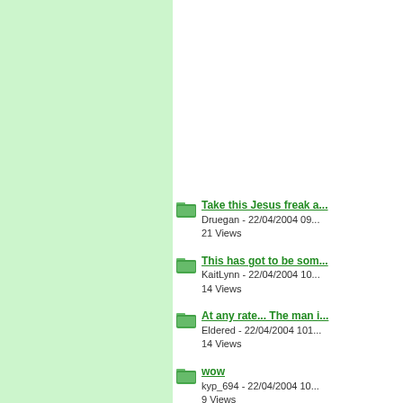[Figure (other): Green sidebar panel on left side of page]
Take this Jesus freak a... - Druegan - 22/04/2004 09... - 21 Views
This has got to be som... - KaitLynn - 22/04/2004 10... - 14 Views
At any rate... The man i... - Eldered - 22/04/2004 101... - 14 Views
wow - kyp_694 - 22/04/2004 10... - 9 Views
OMG, is he serious?? - Jillie_Bean - 22/04/2004... - 8 Views